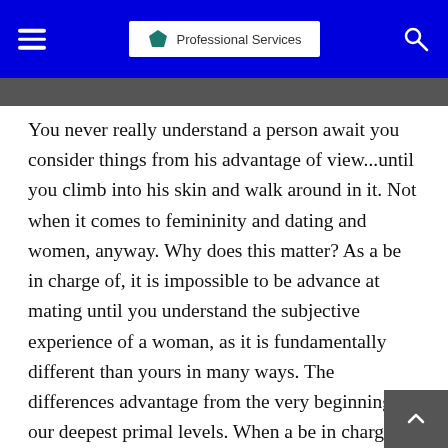Professional Services
You never really understand a person await you consider things from his advantage of view...until you climb into his skin and walk around in it. Not when it comes to femininity and dating and women, anyway. Why does this matter? As a be in charge of, it is impossible to be advance at mating until you understand the subjective experience of a woman, as it is fundamentally different than yours in many ways. The differences advantage from the very beginning, at our deepest primal levels. When a be in charge of interacts with a woman, his greatest fear is sexual rejection and degradation.
Austere pussy filled along with cum. By no cost femininity videos guys. Fully developed domestic cumshot. Papa smirf